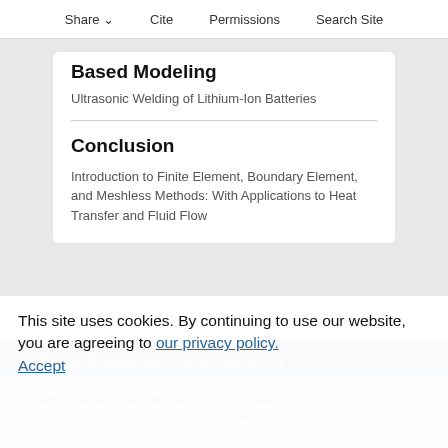Share  Cite  Permissions  Search Site
Based Modeling
Ultrasonic Welding of Lithium-Ion Batteries
Conclusion
Introduction to Finite Element, Boundary Element, and Meshless Methods: With Applications to Heat Transfer and Fluid Flow
PROCEEDINGS SERIES
ASME International Mechanical Engineering Conference Publications and Proceedings
This site uses cookies. By continuing to use our website, you are agreeing to our privacy policy. Accept